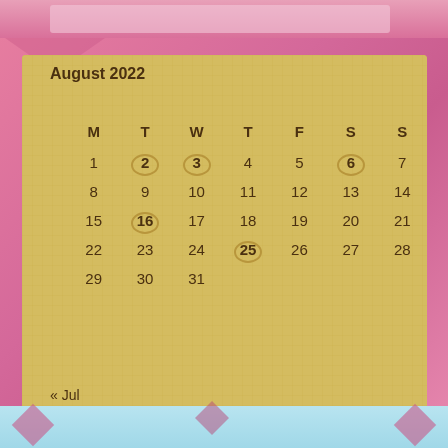August 2022
| M | T | W | T | F | S | S |
| --- | --- | --- | --- | --- | --- | --- |
| 1 | 2 | 3 | 4 | 5 | 6 | 7 |
| 8 | 9 | 10 | 11 | 12 | 13 | 14 |
| 15 | 16 | 17 | 18 | 19 | 20 | 21 |
| 22 | 23 | 24 | 25 | 26 | 27 | 28 |
| 29 | 30 | 31 |  |  |  |  |
<< Jul